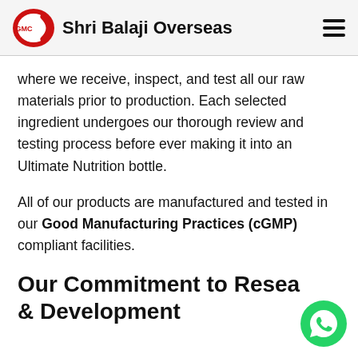Shri Balaji Overseas
where we receive, inspect, and test all our raw materials prior to production. Each selected ingredient undergoes our thorough review and testing process before ever making it into an Ultimate Nutrition bottle.
All of our products are manufactured and tested in our Good Manufacturing Practices (cGMP) compliant facilities.
Our Commitment to Research & Development